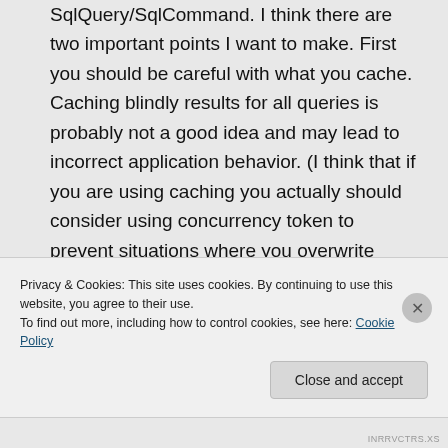No, I am saying that caching won't from SqlQuery/SqlCommand. I think there are two important points I want to make. First you should be careful with what you cache. Caching blindly results for all queries is probably not a good idea and may lead to incorrect application behavior. (I think that if you are using caching you actually should consider using concurrency token to prevent situations where you overwrite current data with stale data that came from
Privacy & Cookies: This site uses cookies. By continuing to use this website, you agree to their use.
To find out more, including how to control cookies, see here: Cookie Policy
Close and accept